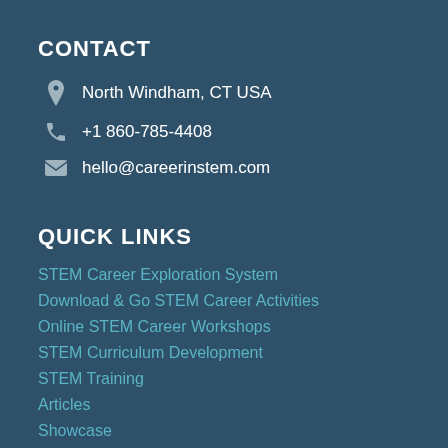CONTACT
North Windham, CT USA
+1 860-785-4408
hello@careerinstem.com
QUICK LINKS
STEM Career Exploration System
Download & Go STEM Career Activities
Online STEM Career Workshops
STEM Curriculum Development
STEM Training
Articles
Showcase